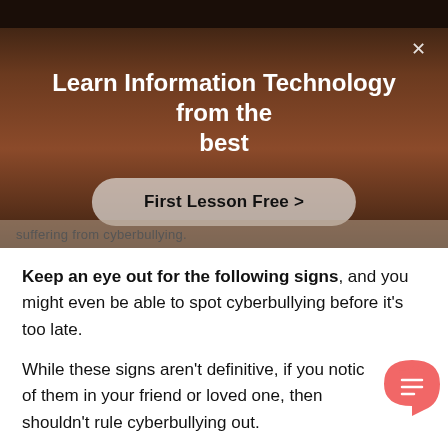[Figure (screenshot): A video overlay/popup showing a person in a room with arms outstretched. Contains title text 'Learn Information Technology from the best' and a 'First Lesson Free >' call-to-action button, plus a close (X) button. Partially clipped text at the bottom reads 'suffering from cyberbullying.']
Keep an eye out for the following signs, and you might even be able to spot cyberbullying before it's too late.
While these signs aren't definitive, if you notice a few of them in your friend or loved one, then you shouldn't rule cyberbullying out.